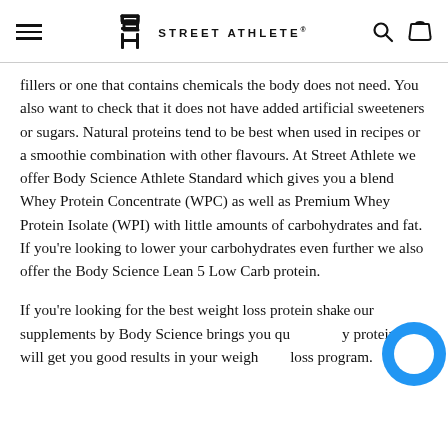Street Athlete (logo/navigation header)
fillers or one that contains chemicals the body does not need. You also want to check that it does not have added artificial sweeteners or sugars. Natural proteins tend to be best when used in recipes or a smoothie combination with other flavours. At Street Athlete we offer Body Science Athlete Standard which gives you a blend Whey Protein Concentrate (WPC) as well as Premium Whey Protein Isolate (WPI) with little amounts of carbohydrates and fat. If you’re looking to lower your carbohydrates even further we also offer the Body Science Lean 5 Low Carb protein.
If you’re looking for the best weight loss protein shake our supplements by Body Science brings you quality protein that will get you good results in your weight loss program.